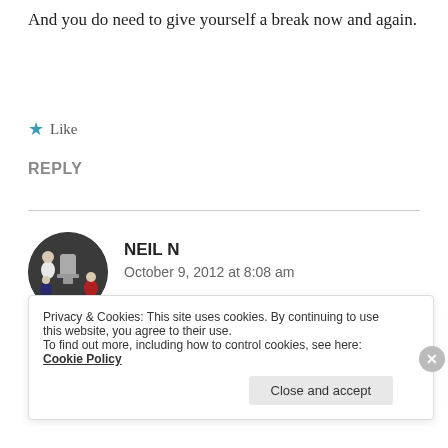And you do need to give yourself a break now and again.
★ Like
REPLY
NEIL N
October 9, 2012 at 8:08 am
I didn't mean the post to sound as if I'm beating
Privacy & Cookies: This site uses cookies. By continuing to use this website, you agree to their use.
To find out more, including how to control cookies, see here: Cookie Policy
Close and accept